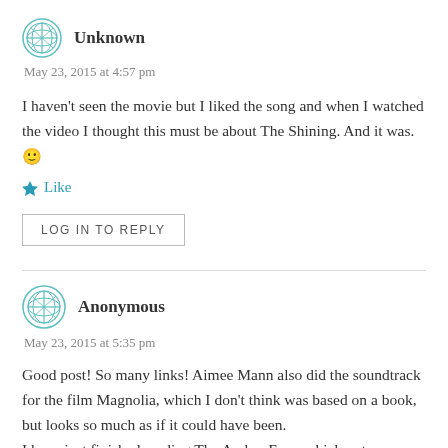Unknown
May 23, 2015 at 4:57 pm
I haven't seen the movie but I liked the song and when I watched the video I thought this must be about The Shining. And it was. 🙂
★ Like
LOG IN TO REPLY
Anonymous
May 23, 2015 at 5:35 pm
Good post! So many links! Aimee Mann also did the soundtrack for the film Magnolia, which I don't think was based on a book, but looks so much as if it could have been. I have just finished reading The Amber Fury, which puts across the helplessness and terrible fate of Cassandra so eloquently.